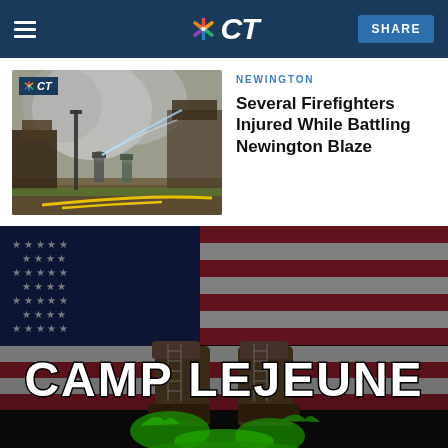NBC CT — SHARE
[Figure (photo): Firefighters battling a blaze with hoses amid smoke and debris, with NBC CT logo badge overlay]
NEWINGTON
Several Firefighters Injured While Battling Newington Blaze
[Figure (photo): Camp Lejeune promotional image: military boots in front of an American flag with green liquid splash and large white text reading CAMP LEJEUNE]